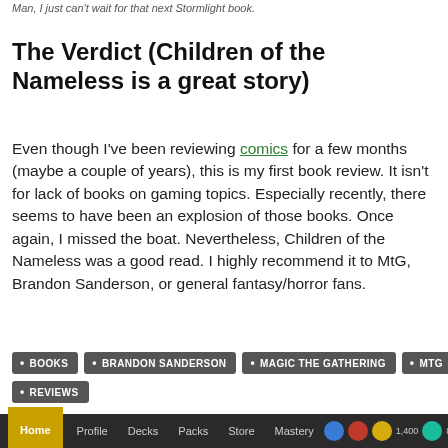Man, I just can't wait for that next Stormlight book.
The Verdict (Children of the Nameless is a great story)
Even though I've been reviewing comics for a few months (maybe a couple of years), this is my first book review. It isn't for lack of books on gaming topics. Especially recently, there seems to have been an explosion of those books. Once again, I missed the boat. Nevertheless, Children of the Nameless was a good read. I highly recommend it to MtG, Brandon Sanderson, or general fantasy/horror fans.
BOOKS
BRANDON SANDERSON
MAGIC THE GATHERING
MTG
REVIEWS
Home  Profile  Decks  Packs  Store  Mastery